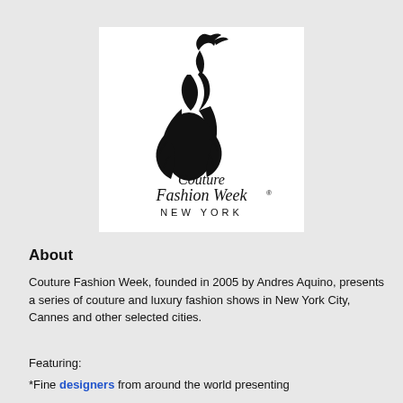[Figure (logo): Couture Fashion Week New York logo featuring a stylized fashion figure silhouette in black ink above the text 'Couture Fashion Week NEW YORK' on a white background]
About
Couture Fashion Week, founded in 2005 by Andres Aquino, presents a series of couture and luxury fashion shows in New York City, Cannes and other selected cities.
Featuring:
*Fine designers from around the world presenting